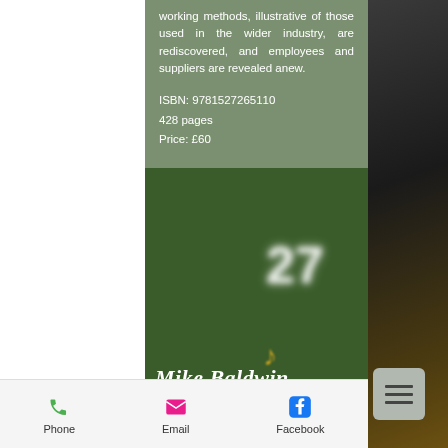working methods, illustrative of those used in the wider industry, are rediscovered, and employees and suppliers are revealed anew.
ISBN: 9781527265110
428 pages
Price: £60
[Figure (illustration): Blurred decorative number '27' in white on dark green background]
Mike Baldwin
Author / Historian/ Folklorist/ Harp Maker
[Figure (illustration): Hamburger/menu icon button (three horizontal lines) in a grey rounded square]
[Figure (illustration): Small decorative harp or bird motif in golden/amber color at bottom of dark green section]
Phone    Email    Facebook